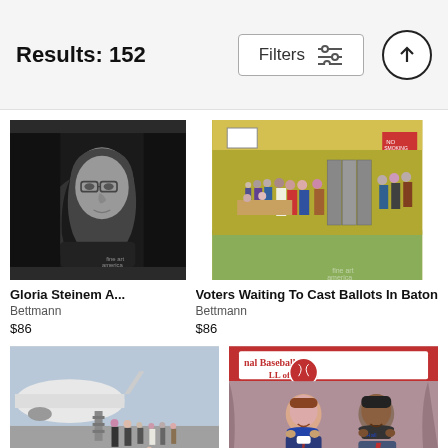Results: 152
[Figure (screenshot): Filters button with sliders icon and up arrow button in header bar]
[Figure (photo): Black and white photo of Gloria Steinem with long hair and glasses]
Gloria Steinem A...
Bettmann
$86
[Figure (photo): Color photo of voters waiting in line to cast ballots in a gymnasium in Baton Rouge]
Voters Waiting To Cast Ballots In Baton
Bettmann
$86
[Figure (photo): Black and white photo of people standing near an airplane on a tarmac]
[Figure (photo): Color photo of two men at a National Baseball Hall of Fame event holding hats]